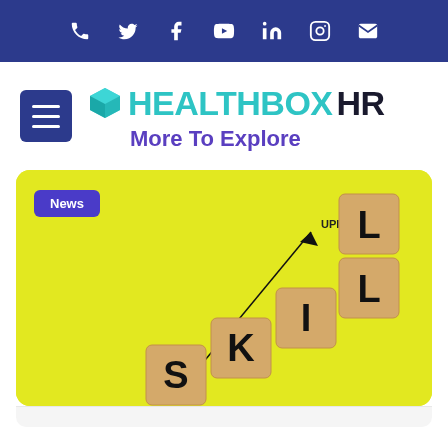Social media icon bar: phone, twitter, facebook, youtube, linkedin, instagram, email
[Figure (logo): HealthBoxHR logo with teal cube icon and dark text, tagline More To Explore]
[Figure (photo): Yellow background with staircase arrangement of wooden letter blocks spelling SKILLS with an arrow pointing up labeled UPII and a News badge overlay]